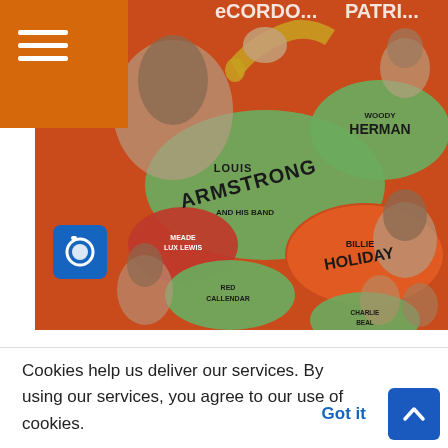[Figure (photo): Vintage jazz concert promotional poster featuring Louis Armstrong and his Band, Billie Holiday, Woody Herman, Meade Lux Lewis, Red Callendar, Charlie Beal, and others. Orange and green bubble graphics with black-and-white photos of musicians on an orange background. A camera icon overlay appears in the lower-left of the image.]
ENTERTAINMENT
JORDAN ROCKS
Cookies help us deliver our services. By using our services, you agree to our use of cookies.
Got it